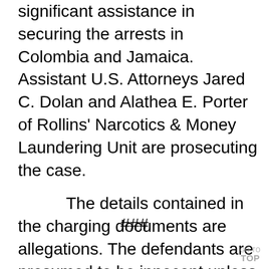significant assistance in securing the arrests in Colombia and Jamaica. Assistant U.S. Attorneys Jared C. Dolan and Alathea E. Porter of Rollins' Narcotics & Money Laundering Unit are prosecuting the case.
The details contained in the charging documents are allegations. The defendants are presumed to be innocent unless and until proven guilty beyond a reasonable doubt in a court of law.
###
GO TO TOP